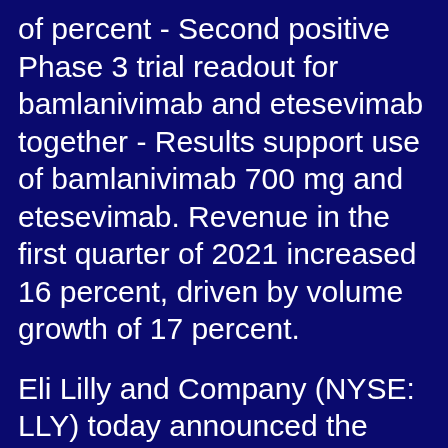of percent - Second positive Phase 3 trial readout for bamlanivimab and etesevimab together - Results support use of bamlanivimab 700 mg and etesevimab. Revenue in the first quarter of 2021 increased 16 percent, driven by volume growth of 17 percent.
Eli Lilly and Company (NYSE: LLY) today announced the outcome of the U. Eli Lilly. March 25, zithromax for sale cheap 2021 03:50 PM Eastern Daylight Time NEW YORK and INDIANAPOLIS-( BUSINESS WIRE )-Pfizer Inc. Results from first network meta-analysis based on area under the curve of 52-week clinical trial data. Taltz also helped